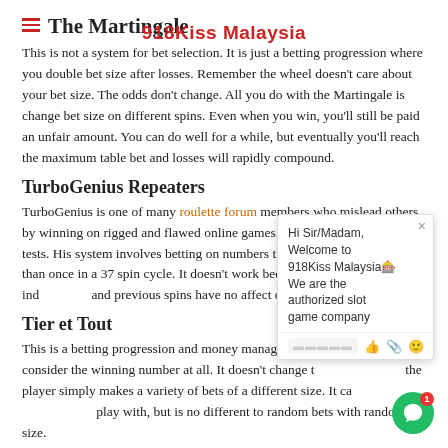The Martingale
This is not a system for bet selection. It is just a betting progression where you double bet size after losses. Remember the wheel doesn't care about your bet size. The odds don't change. All you do with the Martingale is change bet size on different spins. Even when you win, you'll still be paid an unfair amount. You can do well for a while, but eventually you'll reach the maximum table bet and losses will rapidly compound.
TurboGenius Repeaters
TurboGenius is one of many roulette forum members who mislead others by winning on rigged and flawed online games. He avoided any reputable tests. His system involves betting on numbers that recently appeared more than once in a 37 spin cycle. It doesn't work because every spin is independent and previous spins have no affect on future spins.
Tier et Tout
This is a betting progression and money management strategy. It doesn't consider the winning number at all. It doesn't change the player simply makes a variety of bets of a different size. It can be fun to play with, but is no different to random bets with random bet size.
John Solitude Raindrop Strategy
This strategy is based on the principle of 'balance'. So it assumes that...